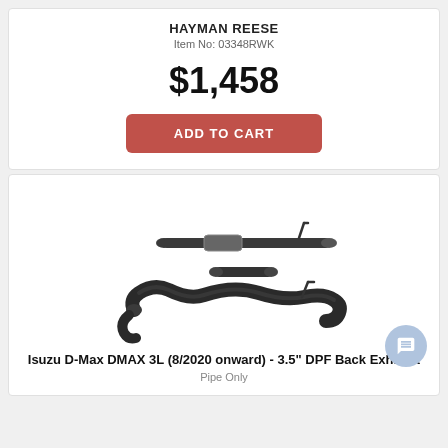HAYMAN REESE
Item No: 03348RWK
$1,458
ADD TO CART
[Figure (photo): Exhaust pipe kit components for Isuzu D-Max, showing three separate metal pipe sections with black coating against white background]
Isuzu D-Max DMAX 3L (8/2020 onward) - 3.5" DPF Back Exhaust
Pipe Only